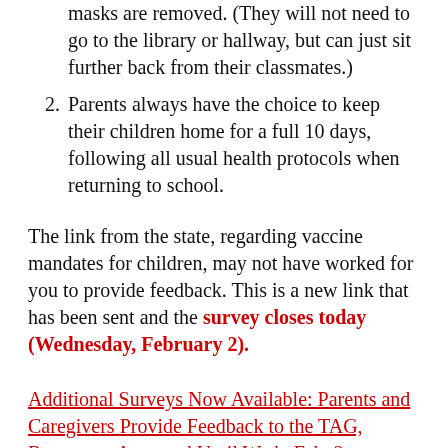masks are removed. (They will not need to go to the library or hallway, but can just sit further back from their classmates.)
Parents always have the choice to keep their children home for a full 10 days, following all usual health protocols when returning to school.
The link from the state, regarding vaccine mandates for children, may not have worked for you to provide feedback. This is a new link that has been sent and the survey closes today (Wednesday, February 2).
Additional Surveys Now Available: Parents and Caregivers Provide Feedback to the TAG, Responses Accepted Until Wed., Feb. 2 >